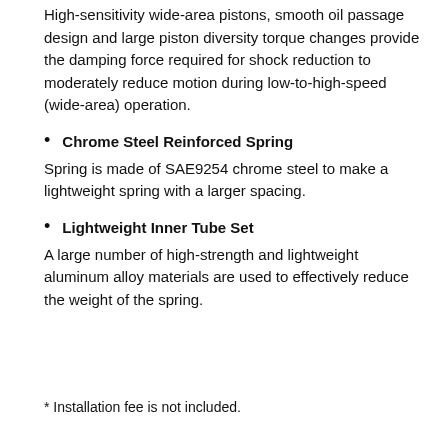High-sensitivity wide-area pistons, smooth oil passage design and large piston diversity torque changes provide the damping force required for shock reduction to moderately reduce motion during low-to-high-speed (wide-area) operation.
Chrome Steel Reinforced Spring
Spring is made of SAE9254 chrome steel to make a lightweight spring with a larger spacing.
Lightweight Inner Tube Set
A large number of high-strength and lightweight aluminum alloy materials are used to effectively reduce the weight of the spring.
* Installation fee is not included.